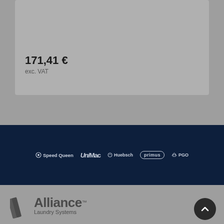171,41 €
exc. VAT
[Figure (logo): Brand logos row on dark navy banner: Speed Queen, UniMac, Huebsch, primus, PGO]
[Figure (logo): Alliance Laundry Systems logo with stylized slash mark and trademark symbol]